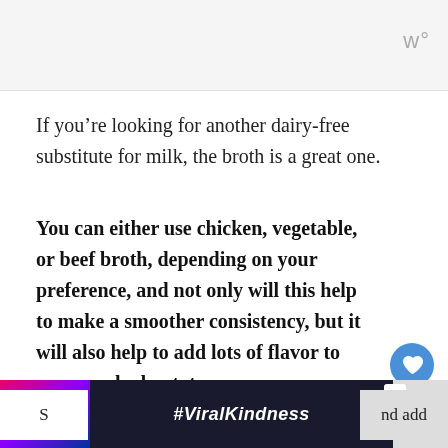w°
If you're looking for another dairy-free substitute for milk, the broth is a great one.
You can either use chicken, vegetable, or beef broth, depending on your preference, and not only will this help to make a smoother consistency, but it will also help to add lots of flavor to your mashed potatoes.
[Figure (infographic): Advertisement banner with #ViralKindness text, showing heart-shaped hands silhouette against sunset background]
S... nd add